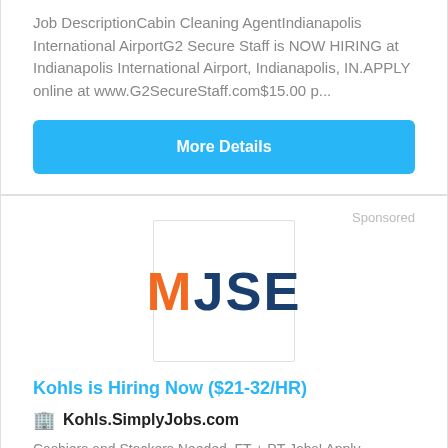Job DescriptionCabin Cleaning AgentIndianapolis International AirportG2 Secure Staff is NOW HIRING at Indianapolis International Airport, Indianapolis, IN.APPLY online at www.G2SecureStaff.com$15.00 p...
More Details
Sponsored
[Figure (logo): MJSE logo — M in orange, JSE in dark navy blue, inside a square bordered box]
Kohls is Hiring Now ($21-32/HR)
Kohls.SimplyJobs.com
Cashiers and Stockers Needed. FT + PT Jobs! Apply